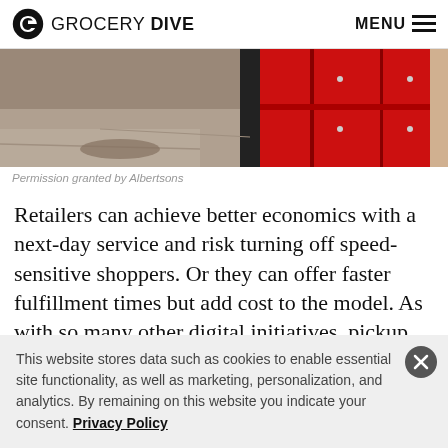GROCERY DIVE  MENU
[Figure (photo): Close-up photo of red lockers or storage units in a gray concrete environment]
Permission granted by Albertsons
Retailers can achieve better economics with a next-day service and risk turning off speed-sensitive shoppers. Or they can offer faster fulfillment times but add cost to the model. As with so many other digital initiatives, pickup
This website stores data such as cookies to enable essential site functionality, as well as marketing, personalization, and analytics. By remaining on this website you indicate your consent. Privacy Policy